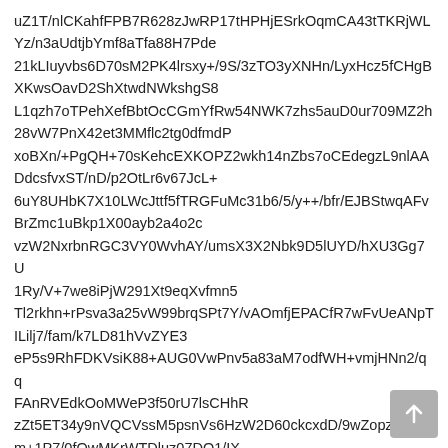uZ1T/nlCKahfFPB7R628zJwRP17tHPHjESrkOqmCA43tTKRjWLYz/n3aUdtjbYmf8aTfa88H7Pde
21kLIuyvbs6D70sM2PK4lrsxy+/9S/3zTO3yXNHn/LyxHcz5fCHgBXKwsOavD2ShXtwdNWkshgS8
L1qzh7oTPehXefBbtOcCGmYfRw54NWK7zhs5auD0ur709MZ2h28vW7PnX42et3MMflc2tg0dfmdP
xoBXn/+PgQH+70sKehcEXKOPZ2wkh14nZbs7oCEdegzL9nlAADdcsfvxST/nD/p2OtLr6v67JcL+
6uY8UHbK7X10LWcJttf5fTRGFuMc31b6/5/y++/bfr/EJBStwqAFvBrZmc1uBkp1X00ayb2a4o2c
vzW2NxrbnRGC3VY0WvhAY/umsX3X2Nbk9D5lUYD/hXU3Gg7U1Ry/V+7we8iPjW291Xt9eqXvfmn5
Tl2rkhn+rPsva3a25vW99brqSPt7Y/vAOmfjEPACfR7wFvUeANpTILilj7/fam/k7LD81hVvZYE3
eP5s9RhFDKVsiK88+AUG0VwPnv5a83aM7odfWH+vmjHNn2/qqFAnRVEdkOoMWeP3f50rU7lsCHhR
zZt5ET34y9nVQCVssM5psnVs6HzW2D60ckcxdD/9wZopz0N9sm+1P7/0fQwMKrWTDluz07DO1/IX
fXotqzPiL/5sGv7xcviQVlbAEi4ZAl5LlwwMEvc+Kkm9CAMapE/vR